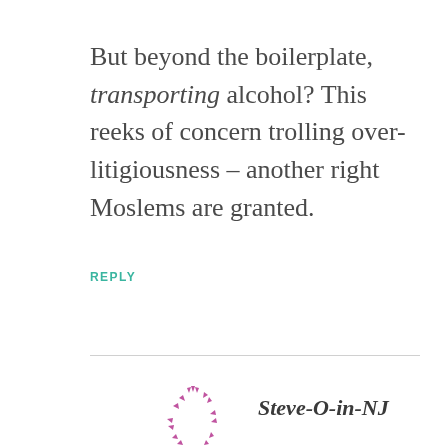But beyond the boilerplate, transporting alcohol? This reeks of concern trolling over-litigiousness – another right Moslems are granted.
REPLY
[Figure (logo): Circular decorative logo made of small purple/magenta arrow-like triangles arranged in a ring pattern]
Steve-O-in-NJ